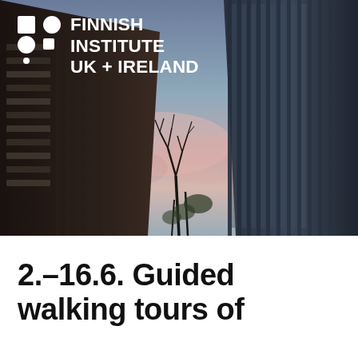[Figure (photo): Upward-looking architectural photo showing two modern buildings framing a twilight sky with pink clouds and bare tree branches visible between them.]
FINNISH INSTITUTE UK + IRELAND
2.–16.6. Guided walking tours of